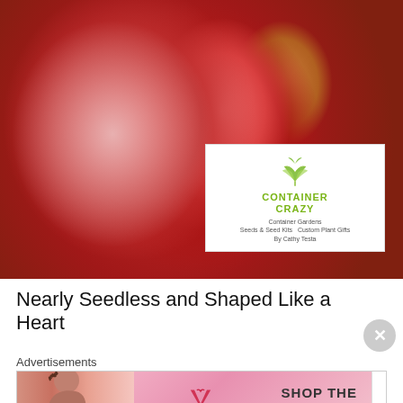[Figure (photo): Close-up photo of a sliced heirloom tomato showing nearly seedless red interior with heart-like shape, with a white Container Crazy garden brand logo overlay in the bottom right corner]
Nearly Seedless and Shaped Like a Heart
Advertisements
[Figure (screenshot): Victoria's Secret advertisement banner with model, VS logo, text SHOP THE COLLECTION, and SHOP NOW button]